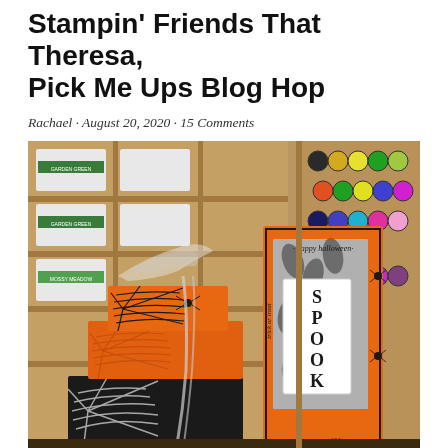Stampin' Friends That Theresa, Pick Me Ups Blog Hop
Rachael · August 20, 2020 · 15 Comments
[Figure (photo): Halloween craft display with orange and black spiderweb-stamped boxes stacked together and a tall orange card/holder with 'SPOOKY' lettering and 'happy halloween' and 'trick or treat' text, set against a background of craft supply storage shelves with ink pads and markers]